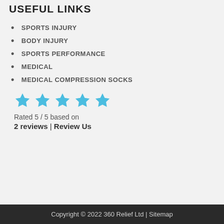USEFUL LINKS
SPORTS INJURY
BODY INJURY
SPORTS PERFORMANCE
MEDICAL
MEDICAL COMPRESSION SOCKS
[Figure (other): Five blue star rating icons in a row]
Rated 5 / 5 based on 2 reviews | Review Us
Copyright © 2022 360 Relief Ltd | Sitemap